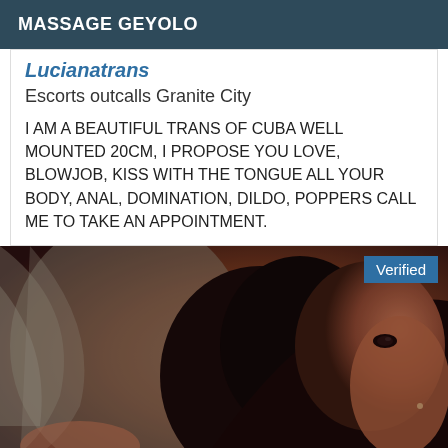MASSAGE GEYOLO
Lucianatrans
Escorts outcalls Granite City
I AM A BEAUTIFUL TRANS OF CUBA WELL MOUNTED 20CM, I PROPOSE YOU LOVE, BLOWJOB, KISS WITH THE TONGUE ALL YOUR BODY, ANAL, DOMINATION, DILDO, POPPERS CALL ME TO TAKE AN APPOINTMENT.
[Figure (photo): Close-up photo of a person with dark hair, teal verified badge overlay in top right corner]